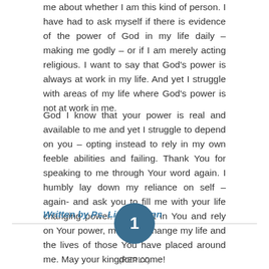me about whether I am this kind of person. I have had to ask myself if there is evidence of the power of God in my life daily – making me godly – or if I am merely acting religious. I want to say that God's power is always at work in my life. And yet I struggle with areas of my life where God's power is not at work in me.
God I know that your power is real and available to me and yet I struggle to depend on you – opting instead to rely in my own feeble abilities and failing. Thank You for speaking to me through Your word again. I humbly lay down my reliance on self – again- and ask you to fill me with your life changing power. As I trust in You and rely on Your power, may You change my life and the lives of those You have placed around me. May your kingdom come!
Written by Ps. Linda Quinn
[Figure (other): A teal/dark-blue circular button with the number 1 inside, centered over a horizontal divider line, with the label (REPLY) below]